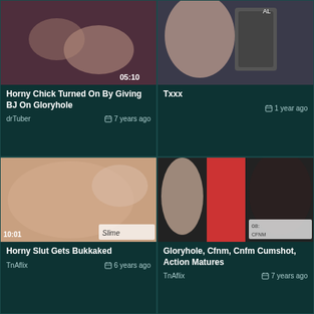[Figure (screenshot): Video thumbnail - top left card, dark toned close-up image with duration 05:10]
Horny Chick Turned On By Giving BJ On Gloryhole
drTuber   7 years ago
[Figure (screenshot): Video thumbnail - top right card, person with blue hair near metal surface]
Txxx
1 year ago
[Figure (screenshot): Video thumbnail - bottom left card, skin-toned close-up image with duration 10:01 and Slime watermark]
Horny Slut Gets Bukkaked
TnAflix   6 years ago
[Figure (screenshot): Video thumbnail - bottom right card, three women near red punching bag with duration overlay]
Gloryhole, Cfnm, Cnfm Cumshot, Action Matures
TnAflix   7 years ago